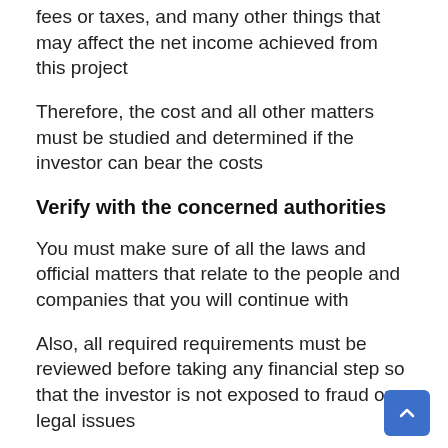fees or taxes, and many other things that may affect the net income achieved from this project
Therefore, the cost and all other matters must be studied and determined if the investor can bear the costs
Verify with the concerned authorities
You must make sure of all the laws and official matters that relate to the people and companies that you will continue with
Also, all required requirements must be reviewed before taking any financial step so that the investor is not exposed to fraud or legal issues